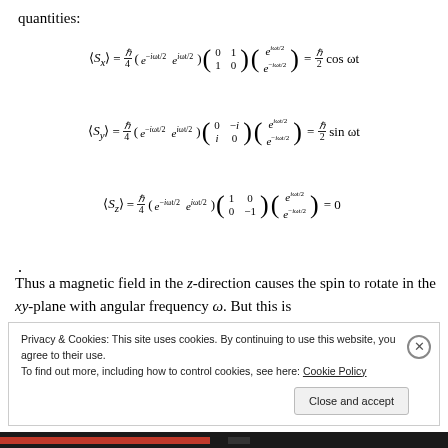quantities:
Thus a magnetic field in the z-direction causes the spin to rotate in the xy-plane with angular frequency ω. But this is
Privacy & Cookies: This site uses cookies. By continuing to use this website, you agree to their use.
To find out more, including how to control cookies, see here: Cookie Policy

Close and accept